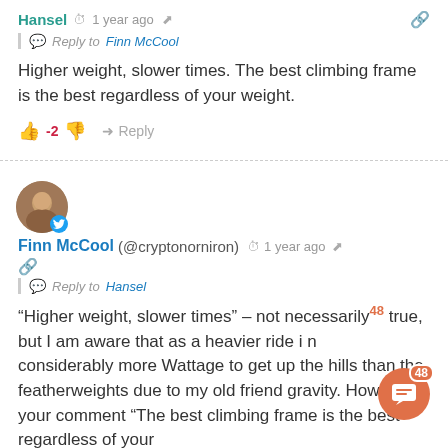Hansel · 1 year ago
Reply to Finn McCool
Higher weight, slower times. The best climbing frame is the best regardless of your weight.
-2 · Reply
[Figure (photo): User avatar for Finn McCool with Twitter badge]
Finn McCool(@cryptonorniron) · 1 year ago
Reply to Hansel
“Higher weight, slower times” – not necessarily true, but I am aware that as a heavier ride i need considerably more Wattage to get up the hills than the featherweights due to my old friend gravity. However your comment “The best climbing frame is the best regardless of your